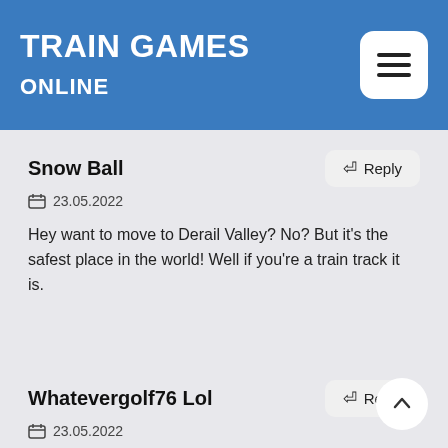TRAIN GAMES ONLINE
Snow Ball
23.05.2022
Hey want to move to Derail Valley? No? But it's the safest place in the world! Well if you're a train track it is.
Whatevergolf76 Lol
23.05.2022
It is cool